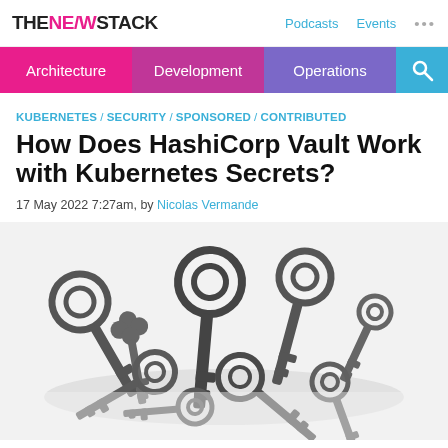THE NEW STACK | Podcasts | Events | ...
Architecture | Development | Operations | Search
KUBERNETES / SECURITY / SPONSORED / CONTRIBUTED
How Does HashiCorp Vault Work with Kubernetes Secrets?
17 May 2022 7:27am, by Nicolas Vermande
[Figure (photo): Pile of old antique metal skeleton keys on a white background]